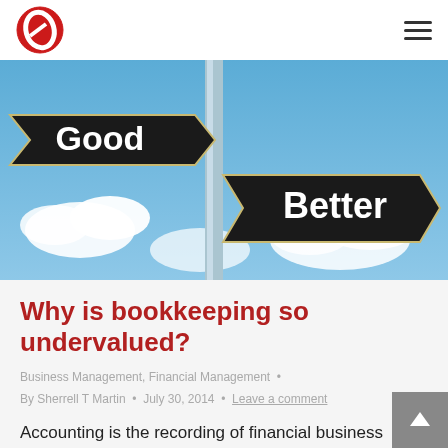Logo and navigation menu
[Figure (photo): Street sign post with two dark arrow signs reading 'Good' (pointing left) and 'Better' (pointing right), against a blue sky with clouds.]
Why is bookkeeping so undervalued?
Business Management, Financial Management • By Sherrell T Martin • July 30, 2014 • Leave a comment
Accounting is the recording of financial business transactions in a systematic way.  It